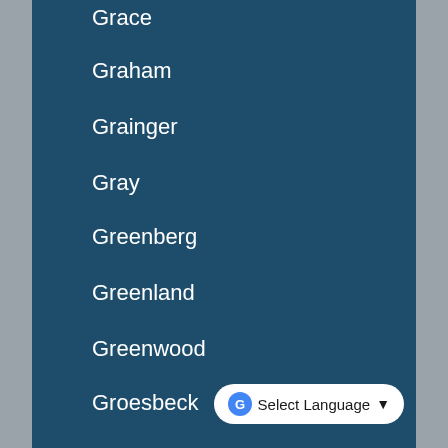Grace
Graham
Grainger
Gray
Greenberg
Greenland
Greenwood
Groesbeck
Groff
[Figure (other): Select Language button with Google Translate icon and dropdown chevron]